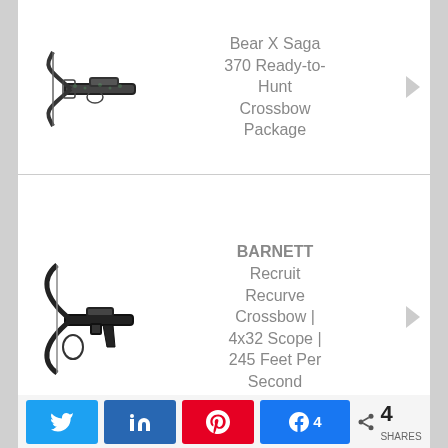[Figure (photo): Bear X Saga 370 crossbow product image]
Bear X Saga 370 Ready-to-Hunt Crossbow Package
[Figure (photo): BARNETT Recruit Recurve Crossbow product image]
BARNETT Recruit Recurve Crossbow | 4x32 Scope | 245 Feet Per Second
[Figure (photo): BARNETT Assault 350 Crossbow product image]
BARNETT Assault 350 Crossbow|350 Feet Per...